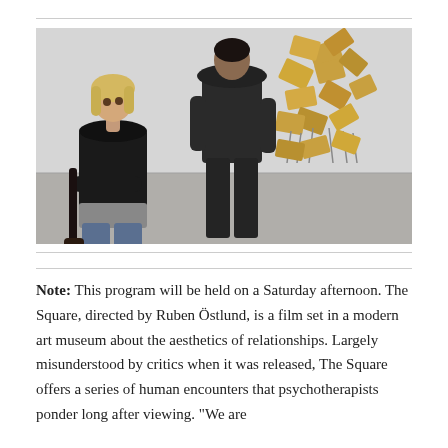[Figure (photo): A woman with blonde hair wearing a black top stands with arms crossed, looking up at a man in a dark suit who has his back partially to the camera. In the background is a large gold abstract chair sculpture installation in a white gallery space.]
Note: This program will be held on a Saturday afternoon. The Square, directed by Ruben Östlund, is a film set in a modern art museum about the aesthetics of relationships. Largely misunderstood by critics when it was released, The Square offers a series of human encounters that psychotherapists ponder long after viewing. "We are